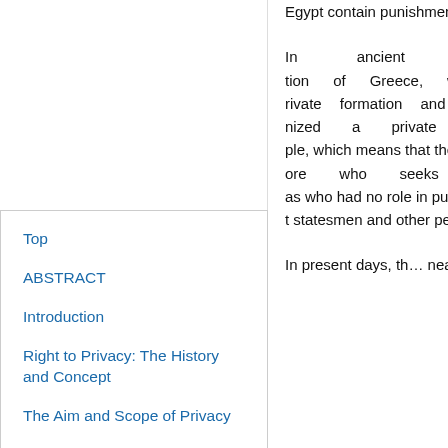Egypt contain punishment...
In ancient western civiliza... Greece, where a known p... formation and secrets tra... nized a private domain by... ple, which means that the... notion of “privacy” was m... who seeks privacy and w... who had no role in public... words “to be let alone”, bu... statesmen and other peop...
Top
ABSTRACT
Introduction
Right to Privacy: The History and Concept
The Aim and Scope of Privacy
Forms of the Right to Privacy under Comparative Law
In present days, th... nearly every state... conventions, inclu... Political Rights (an... and Duties of Mea... 2011).